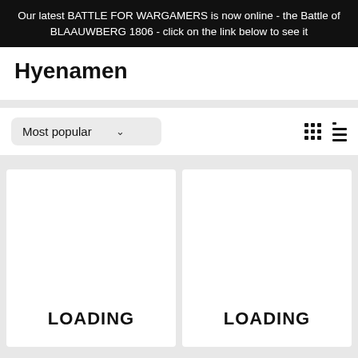Our latest BATTLE FOR WARGAMERS is now online - the Battle of BLAAUWBERG 1806 - click on the link below to see it
Hyenamen
Most popular
[Figure (screenshot): Two loading placeholder cards displayed side by side, each showing the text LOADING in bold black capital letters]
LOADING
LOADING